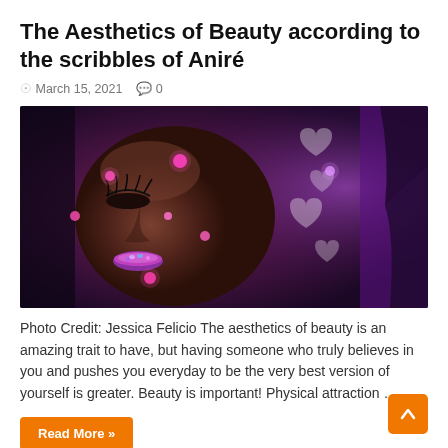The Aesthetics of Beauty according to the scribbles of Aniré
March 15, 2021   💬 0
[Figure (photo): Close-up portrait of a woman with dark skin, closed eyes, glittery purple lipstick, and pink/purple light dots and heart shapes projected on her face, against a purple background]
Photo Credit: Jessica Felicio The aesthetics of beauty is an amazing trait to have, but having someone who truly believes in you and pushes you everyday to be the very best version of yourself is greater. Beauty is important! Physical attraction …